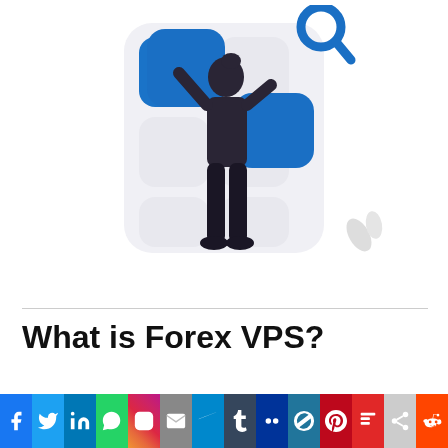[Figure (illustration): A woman in dark clothing standing and looking at a smartphone/app grid screen with blue rounded square icons, a magnifying glass icon above, on a white background. The illustration shows app selection or search concept.]
What is Forex VPS?
[Figure (infographic): Social media sharing bar with icons for Facebook, Twitter, LinkedIn, WhatsApp, Instagram, Email, Telegram, Tumblr, MySpace, WordPress, Pinterest, Flipboard, and Reddit, each with their brand colors.]